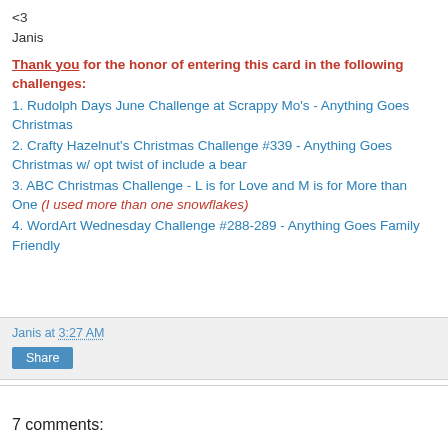<3
Janis
Thank you for the honor of entering this card in the following challenges:
1. Rudolph Days June Challenge at Scrappy Mo's - Anything Goes Christmas
2. Crafty Hazelnut's Christmas Challenge #339 - Anything Goes Christmas w/ opt twist of include a bear
3. ABC Christmas Challenge - L is for Love and M is for More than One (I used more than one snowflakes)
4. WordArt Wednesday Challenge #288-289 - Anything Goes Family Friendly
Janis at 3:27 AM
Share
7 comments: